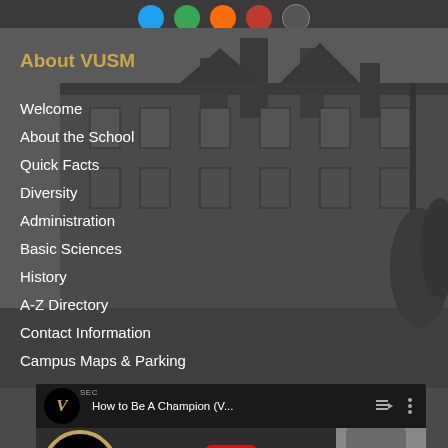Social media icons bar (Twitter, Instagram, Pinterest, YouTube, other)
About VUSM
Welcome
About the School
Quick Facts
Diversity
Administration
Basic Sciences
History
A-Z Directory
Contact Information
Campus Maps & Parking
[Figure (screenshot): YouTube video thumbnail showing Vanderbilt V logo with SEC badge, text 'How to Be A Champion (V...' with playlist and options icons, and a play button over a thumbnail image showing 'ACADEMIC HONOR' text and a person]